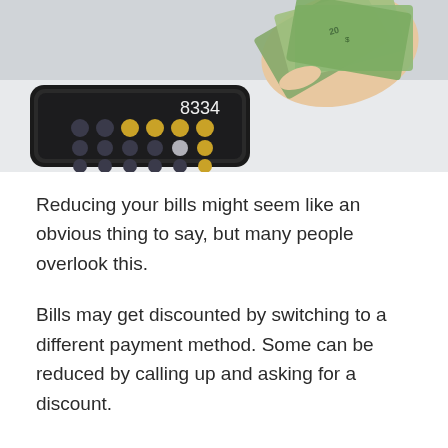[Figure (photo): A hand holding fanned out US dollar bills above a smartphone showing a calculator app displaying 8334 on a light surface.]
Reducing your bills might seem like an obvious thing to say, but many people overlook this.
Bills may get discounted by switching to a different payment method. Some can be reduced by calling up and asking for a discount.
You can also cancel subscriptions, keep debt to a